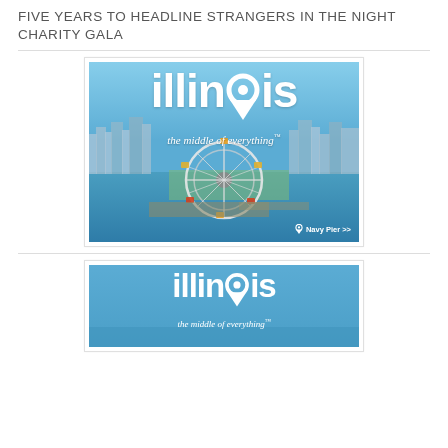FIVE YEARS TO HEADLINE STRANGERS IN THE NIGHT CHARITY GALA
[Figure (illustration): Illinois tourism advertisement banner showing aerial view of Chicago Navy Pier with Ferris wheel, skyline, and water. Text overlaid: 'illinois the middle of everything™' with 'Navy Pier >>' label.]
[Figure (illustration): Illinois tourism advertisement banner with blue background showing 'illinois the middle of everything™' logo text.]